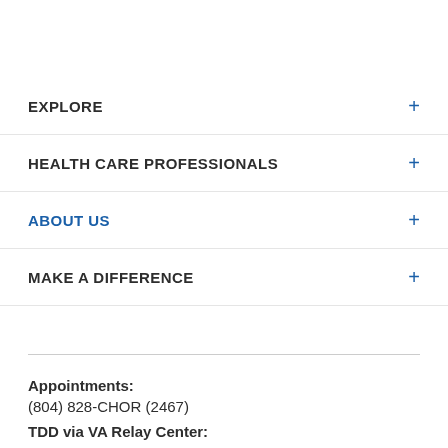EXPLORE +
HEALTH CARE PROFESSIONALS +
ABOUT US +
MAKE A DIFFERENCE +
Appointments:
(804) 828-CHOR (2467)
TDD via VA Relay Center:
1-800-828-1120